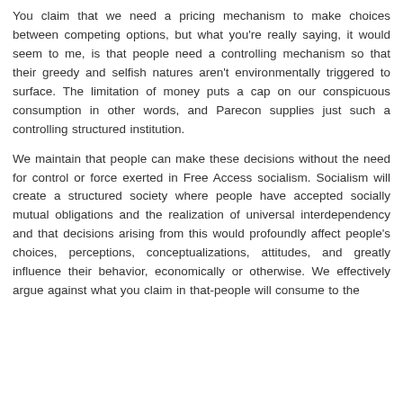You claim that we need a pricing mechanism to make choices between competing options, but what you're really saying, it would seem to me, is that people need a controlling mechanism so that their greedy and selfish natures aren't environmentally triggered to surface. The limitation of money puts a cap on our conspicuous consumption in other words, and Parecon supplies just such a controlling structured institution.

We maintain that people can make these decisions without the need for control or force exerted in Free Access socialism. Socialism will create a structured society where people have accepted socially mutual obligations and the realization of universal interdependency and that decisions arising from this would profoundly affect people's choices, perceptions, conceptualizations, attitudes, and greatly influence their behavior, economically or otherwise. We effectively argue against what you claim in that-people will consume to the